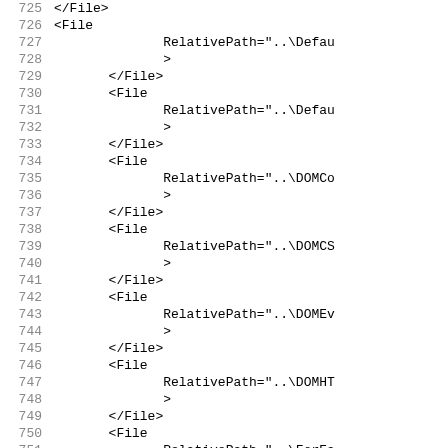Source code listing with XML file entries, lines 725-757, showing File elements with RelativePath attributes including DefaultJ, DefaultL, DOMCon, DOMCSS, DOMEve, DOMHTMl, ForEac, Fullsc references